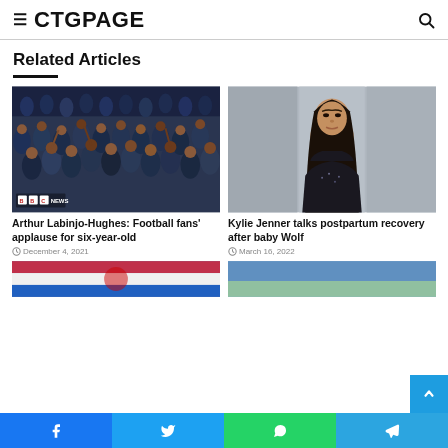CTGPAGE
Related Articles
[Figure (photo): Football fans crowd in stands, BBC News badge in corner]
Arthur Labinjo-Hughes: Football fans’ applause for six-year-old
December 4, 2021
[Figure (photo): Kylie Jenner in black outfit against grey background]
Kylie Jenner talks postpartum recovery after baby Wolf
March 16, 2022
[Figure (photo): Partial image — colorful flags or fabric]
[Figure (photo): Partial image — sky and open landscape]